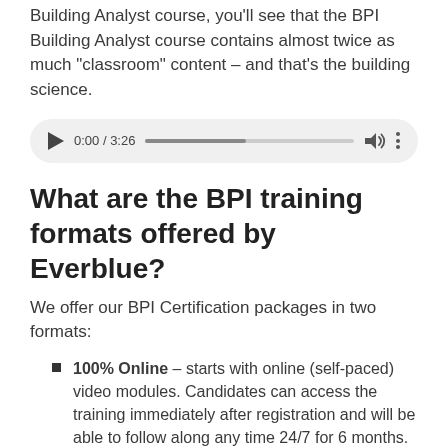Building Analyst course, you'll see that the BPI Building Analyst course contains almost twice as much "classroom" content – and that's the building science.
[Figure (screenshot): Audio player showing 0:00 / 3:26 with a progress bar, volume icon, and options icon on a light gray rounded background.]
What are the BPI training formats offered by Everblue?
We offer our BPI Certification packages in two formats:
100% Online – starts with online (self-paced) video modules. Candidates can access the training immediately after registration and will be able to follow along any time 24/7 for 6 months. When you're ready to take the exam, you'll simply